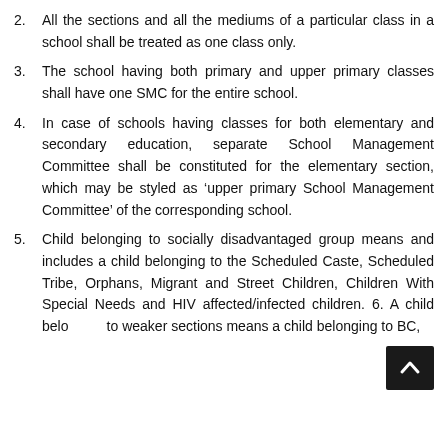2. All the sections and all the mediums of a particular class in a school shall be treated as one class only.
3. The school having both primary and upper primary classes shall have one SMC for the entire school.
4. In case of schools having classes for both elementary and secondary education, separate School Management Committee shall be constituted for the elementary section, which may be styled as ‘upper primary School Management Committee’ of the corresponding school.
5. Child belonging to socially disadvantaged group means and includes a child belonging to the Scheduled Caste, Scheduled Tribe, Orphans, Migrant and Street Children, Children With Special Needs and HIV affected/infected children. 6. A child belo[nging] to weaker sections means a child belonging to BC,